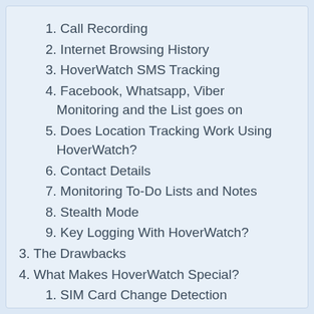1. Call Recording
2. Internet Browsing History
3. HoverWatch SMS Tracking
4. Facebook, Whatsapp, Viber Monitoring and the List goes on
5. Does Location Tracking Work Using HoverWatch?
6. Contact Details
7. Monitoring To-Do Lists and Notes
8. Stealth Mode
9. Key Logging With HoverWatch?
3. The Drawbacks
4. What Makes HoverWatch Special?
1. SIM Card Change Detection
2. Selfie Capture
3. Auto Screenshots